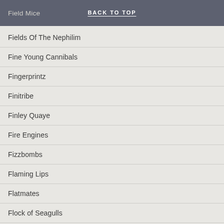Field Mice | BACK TO TOP
Fields Of The Nephilim
Fine Young Cannibals
Fingerprintz
Finitribe
Finley Quaye
Fire Engines
Fizzbombs
Flaming Lips
Flatmates
Flock of Seagulls
Flowered Up
Flowers